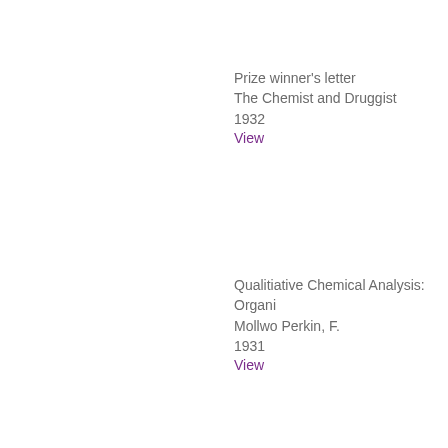Prize winner's letter
The Chemist and Druggist
1932
View
Qualitiative Chemical Analysis: Organi
Mollwo Perkin, F.
1931
View